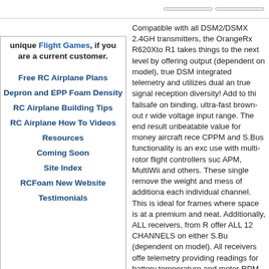unique Flight Games, if you are a current customer.
Free RC Airplane Plans
Depron and EPP Foam Density
RC Airplane Building Tips
RC Airplane How To Videos
Resources
Coming Soon
Site Index
RCFoam New Website
Testimonials
Compatible with all DSM2/DSMX 2.4GH transmitters, the OrangeRx R620Xto R1 takes things to the next level by offering output (dependent on model), true DSM integrated telemetry and utilizes dual an true signal reception diversity! Add to thi failsafe on binding, ultra-fast brown-out r wide voltage input range. The end result unbeatable value for money aircraft rece CPPM and S.Bus functionality is an exc use with multi-rotor flight controllers suc APM, MultiWii and others. These single remove the weight and mess of additiona each individual channel. This is ideal for frames where space is at a premium and neat. Additionally, ALL receivers, from R offer ALL 12 CHANNELS on either S.Bu (dependent on model). All receivers offe telemetry providing readings for battery temperature and motor RPM. Using the can always monitor all critical paramete donï¿½t need to buy an additional telem They have dual diversity antennas as w functional satellite ports to give unbeata quality. Flight testing has demonstrated and solid reception and has shown that R620X to R1220X exceed the range of the same class. OrangeRx receivers ar original components, 32 bit MCUs and SMT automation...